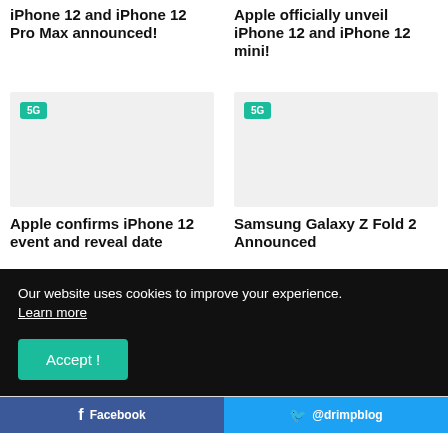iPhone 12 and iPhone 12 Pro Max announced!
Apple officially unveil iPhone 12 and iPhone 12 mini!
[Figure (photo): Article thumbnail image with 5G badge for Apple confirms iPhone 12 event and reveal date]
Apple confirms iPhone 12 event and reveal date
[Figure (photo): Article thumbnail image with 5G badge for Samsung Galaxy Z Fold 2 Announced]
Samsung Galaxy Z Fold 2 Announced
Our website uses cookies to improve your experience. Learn more
Accept !
Facebook   @drimpblog